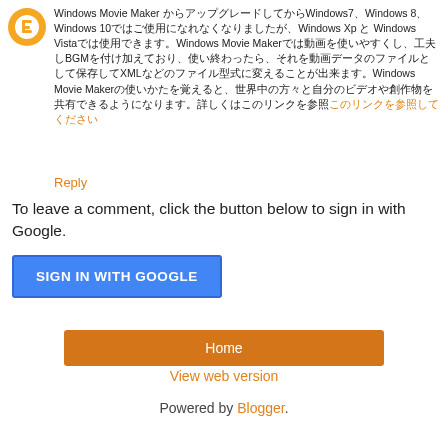Windows Movie Maker からアップグレードしてからWindows7、Windows 8、Windows 10ではご使用になれなくなりましたが、Windows Xp と Windows Vistaでは使用できます。Windows Movie Makerでは動画を使いやすくし、工夫しBGMを付け加えており、使い終わったら、それを動画データのファイルとして保存してXMLなどのファイル型式に変えることが出来ます。Windows Movie Makerの使いかたを覚えると、世界中の方々と自分のビデオや創作物を共有できるようになります。詳しくはこのリンクを参照
Reply
To leave a comment, click the button below to sign in with Google.
[Figure (screenshot): SIGN IN WITH GOOGLE button - blue button with white bold uppercase text]
[Figure (screenshot): Home button - orange/brown button with white text]
View web version
Powered by Blogger.